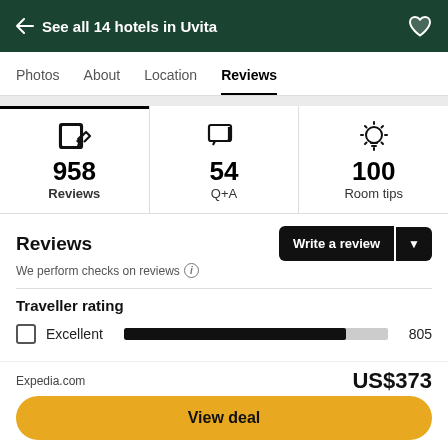← See all 14 hotels in Uvita
Photos  About  Location  Reviews
[Figure (infographic): Three stat icons: edit icon with 958 Reviews, message icon with 54 Q+A, lightbulb icon with 100 Room tips]
Reviews
We perform checks on reviews ⓘ
Traveller rating
Excellent  805
Expedia.com  US$373
View deal